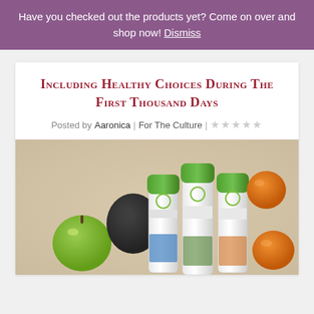Have you checked out the products yet? Come on over and shop now! Dismiss
Including Healthy Choices During The First Thousand Days
Posted by Aaronica | For The Culture | ☆☆☆☆☆
[Figure (photo): Photo of three supplement/nutrition bottles with green caps arranged on a surface alongside a green apple, avocado, orange tangerine fruits]